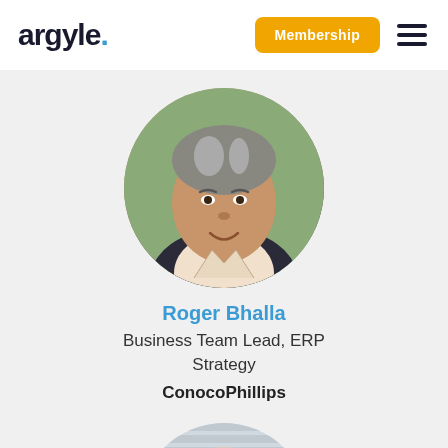argyle. | Membership
[Figure (photo): Circular portrait photo of Roger Bhalla, a middle-aged man with short gray-streaked hair, wearing a dark jacket, smiling, with a blurred green background.]
Roger Bhalla
Business Team Lead, ERP Strategy
ConocoPhillips
[Figure (photo): Circular portrait photo of a second person, partially visible at the bottom of the page, showing the top of a man's head with light-colored hair.]